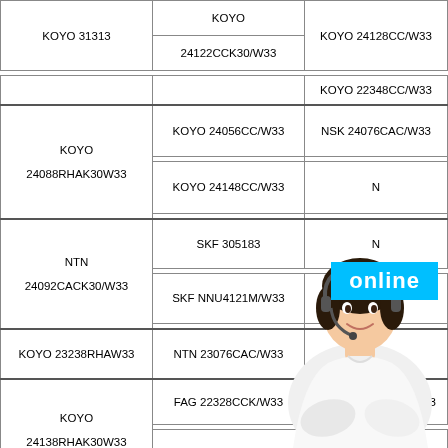| KOYO 31313 | KOYO
24122CCK30/W33 | KOYO 24128CC/W33
KOYO 22348CC/W33 |
| KOYO
24088RHAK30W33 | KOYO 24056CC/W33
KOYO 24148CC/W33 | NSK 24076CAC/W33
N |
| NTN
24092CACK30/W33 | SKF 305183
SKF NNU4121M/W33 | N
NSK |
| KOYO 23238RHAW33 | NTN 23076CAC/W33 | KOYO |
| KOYO
24138RHAK30W33 | FAG 22328CCK/W33
SKF UCP203 | FAG 2208K.2RS.TV.C3
NSK 22211CCK/W33 |
| NTN 23036CCK/W33 | SKF 23276CAC/W33 | NTN NUP213 |
[Figure (photo): Customer service representative (woman with headset) overlaid on the table, with a blue 'online' badge.]